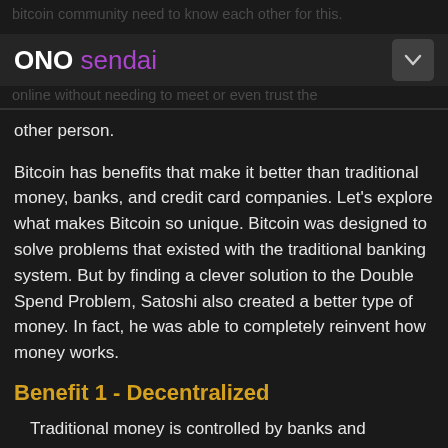ONO sendai
other person.
Bitcoin has benefits that make it better than traditional money, banks, and credit card companies. Let's explore what makes Bitcoin so unique. Bitcoin was designed to solve problems that existed with the traditional banking system. But by finding a clever solution to the Double Spend Problem, Satoshi also created a better type of money. In fact, he was able to completely reinvent how money works.
Benefit 1 - Decentralized
Traditional money is controlled by banks and governments – which makes it a "centralized" currency. Bitcoin is not controlled or regulated by